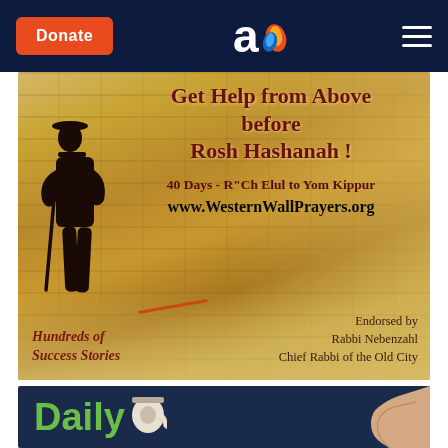Donate | [logo] | menu
[Figure (illustration): Advertisement banner for WesternWallPrayers.org showing a silhouette of a person praying at the Western Wall in Jerusalem against a golden stone background. Text reads: Get Help from Above before Rosh Hashanah! 40 Days - R'Ch Elul to Yom Kippur www.WesternWallPrayers.org. Bottom left: Hundreds of Success Stories. Bottom right: Endorsed by Rabbi Nebenzahl Chief Rabbi of the Old City.]
[Figure (illustration): Partial advertisement banner with dark navy background showing 'Daily' text in green with a toilet paper roll icon and a hand visible on the right side.]